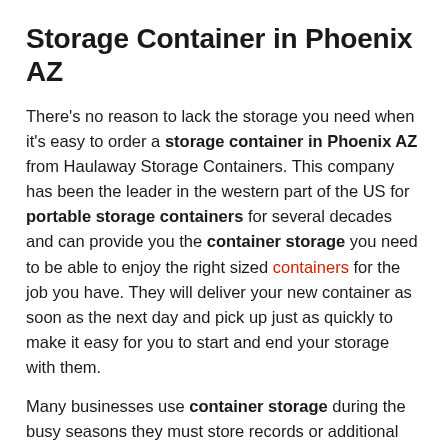Storage Container in Phoenix AZ
There's no reason to lack the storage you need when it's easy to order a storage container in Phoenix AZ from Haulaway Storage Containers. This company has been the leader in the western part of the US for portable storage containers for several decades and can provide you the container storage you need to be able to enjoy the right sized containers for the job you have. They will deliver your new container as soon as the next day and pick up just as quickly to make it easy for you to start and end your storage with them.
Many businesses use container storage during the busy seasons they must store records or additional inventory that is expected to be needed. Other companies keep these portable storage